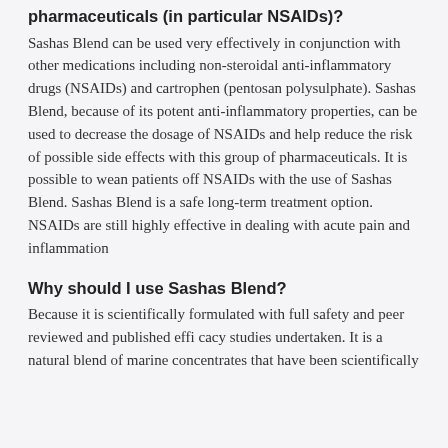pharmaceuticals (in particular NSAIDs)?
Sashas Blend can be used very effectively in conjunction with other medications including non-steroidal anti-inflammatory drugs (NSAIDs) and cartrophen (pentosan polysulphate). Sashas Blend, because of its potent anti-inflammatory properties, can be used to decrease the dosage of NSAIDs and help reduce the risk of possible side effects with this group of pharmaceuticals. It is possible to wean patients off NSAIDs with the use of Sashas Blend. Sashas Blend is a safe long-term treatment option. NSAIDs are still highly effective in dealing with acute pain and inflammation
Why should I use Sashas Blend?
Because it is scientifically formulated with full safety and peer reviewed and published efficacy studies undertaken. It is a natural blend of marine concentrates that have been scientifically